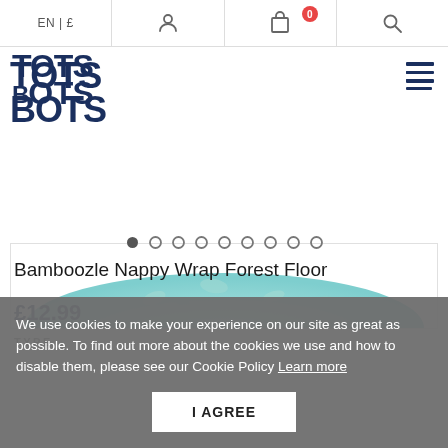EN | £  [user icon]  [cart icon with 0]  [search icon]
[Figure (logo): Tots Bots logo in dark navy blue, bold block letters arranged in a 2x2 grid: TOTS / BOTS]
[Figure (photo): Product image showing a teal/mint colored Bamboozle Nappy Wrap with a leaf pattern, photographed from above showing the curved top edge]
[Figure (other): Carousel navigation dots: 9 dots, first one filled/active, rest are empty circles]
Bamboozle Nappy Wrap Forest Floor
£12.99
TYPE
We use cookies to make your experience on our site as great as possible. To find out more about the cookies we use and how to disable them, please see our Cookie Policy Learn more
I AGREE